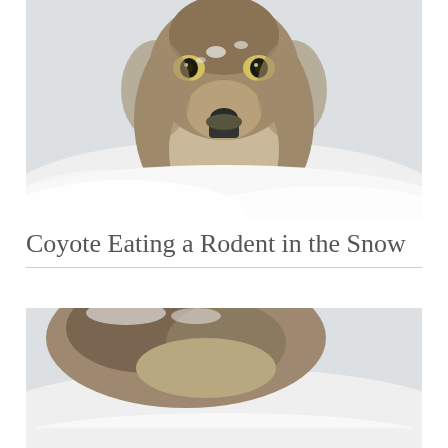[Figure (photo): Close-up photograph of a coyote in the snow, facing forward with intense yellow-green eyes, fur dusted with snow, appearing to be eating something (a rodent), with snowy white background.]
Coyote Eating a Rodent in the Snow
[Figure (photo): Partial photograph of a coyote in the snow, showing the animal's back/side with brown and grey fur, snowy background, only the top portion visible as the image is cropped.]